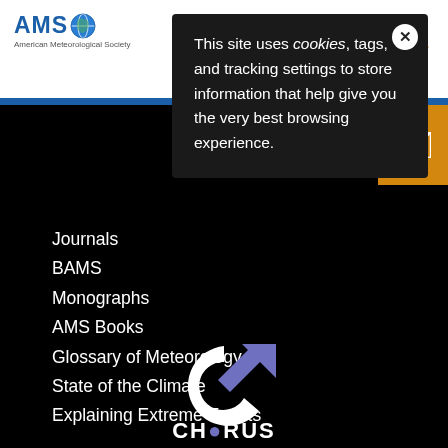[Figure (screenshot): AMS (American Meteorological Society) website header with logo on left and search icon on right, blue divider bar, orange email button]
This site uses cookies, tags, and tracking settings to store information that help give you the very best browsing experience.
Journals
BAMS
Monographs
AMS Books
Glossary of Meteorology
State of the Climate
Explaining Extreme Events
[Figure (logo): CHORUS logo - white circular arrow with purple/blue arrow accent and CHORUS text below]